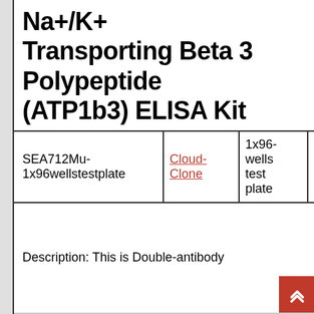Na+/K+ Transporting Beta 3 Polypeptide (ATP1b3) ELISA Kit
| SKU | Brand | Size | Price |
| --- | --- | --- | --- |
| SEA712Mu-1x96wellstestplate | Cloud-Clone | 1x96-wells test plate | EUR 598.96 |
Description: This is Double-antibody